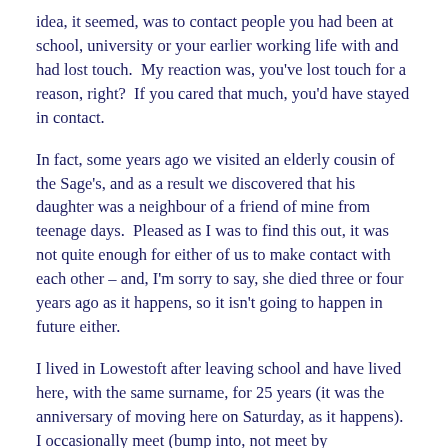idea, it seemed, was to contact people you had been at school, university or your earlier working life with and had lost touch.  My reaction was, you've lost touch for a reason, right?  If you cared that much, you'd have stayed in contact.
In fact, some years ago we visited an elderly cousin of the Sage's, and as a result we discovered that his daughter was a neighbour of a friend of mine from teenage days.  Pleased as I was to find this out, it was not quite enough for either of us to make contact with each other – and, I'm sorry to say, she died three or four years ago as it happens, so it isn't going to happen in future either.
I lived in Lowestoft after leaving school and have lived here, with the same surname, for 25 years (it was the anniversary of moving here on Saturday, as it happens).  I occasionally meet (bump into, not meet by arrangement) people I knew from schooldays, and one of them told me, a while back, that her mother is still a good friend of two of our teachers,